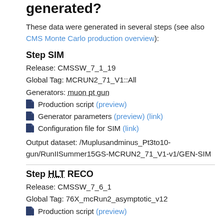generated?
These data were generated in several steps (see also CMS Monte Carlo production overview):
Step SIM
Release: CMSSW_7_1_19
Global Tag: MCRUN2_71_V1::All
Generators: muon pt gun
Production script (preview)
Generator parameters (preview) (link)
Configuration file for SIM (link)
Output dataset: /Muplusandminus_Pt3to10-gun/RunIISummer15GS-MCRUN2_71_V1-v1/GEN-SIM
Step HLT RECO
Release: CMSSW_7_6_1
Global Tag: 76X_mcRun2_asymptotic_v12
Production script (preview)